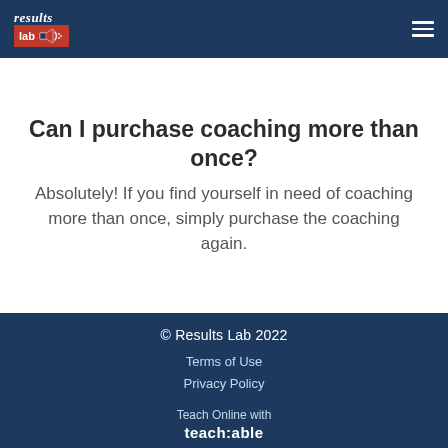[Figure (logo): Results Lab logo: cursive 'results' text above a red badge with 'lab' and speaker/megaphone icon with signals]
Can I purchase coaching more than once?
Absolutely! If you find yourself in need of coaching more than once, simply purchase the coaching again.
© Results Lab 2022
Terms of Use
Privacy Policy
Teach Online with
teach:able